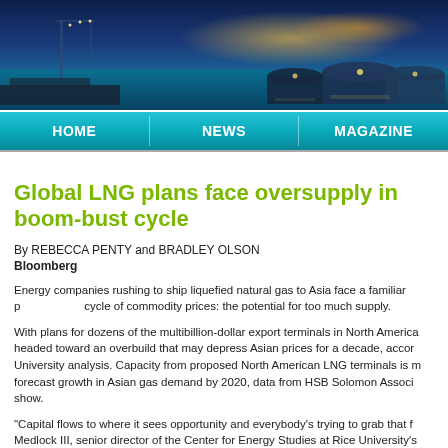[Figure (photo): Aerial night photo of LNG storage tanks and industrial port facility with blue and yellow lighting]
HOME | NEWS | MAGAZINE
Global LNG plans face oversupply in boom-bust cycle
By REBECCA PENTY and BRADLEY OLSON
Bloomberg
Energy companies rushing to ship liquefied natural gas to Asia face a familiar pattern in the cycle of commodity prices: the potential for too much supply.
With plans for dozens of the multibillion-dollar export terminals in North America, the industry is headed toward an overbuild that may depress Asian prices for a decade, according to a Rice University analysis. Capacity from proposed North American LNG terminals is more than triple the forecast growth in Asian gas demand by 2020, data from HSB Solomon Associates and Poten show.
"Capital flows to where it sees opportunity and everybody's trying to grab that flag," said Kenneth Medlock III, senior director of the Center for Energy Studies at Rice University's Baker Institute for Public Policy in Houston, said in a March 3 interview. "What happens is that you end up with everybody trying to grab the flag."